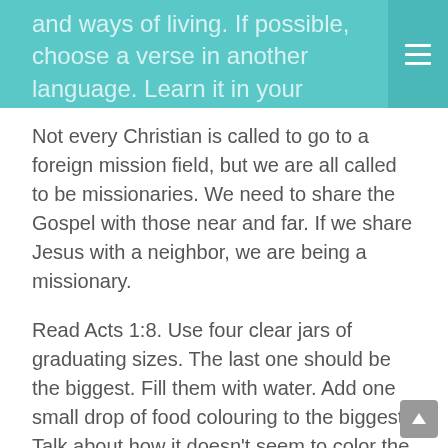and ways of living. If possible, choose a verse in another language. Learn it in your language and another.
Not every Christian is called to go to a foreign mission field, but we are all called to be missionaries. We need to share the Gospel with those near and far. If we share Jesus with a neighbor, we are being a missionary.
Read Acts 1:8. Use four clear jars of graduating sizes. The last one should be the biggest. Fill them with water. Add one small drop of food colouring to the biggest. Talk about how it doesn't seem to color the water very dark. Empty it out. Then put